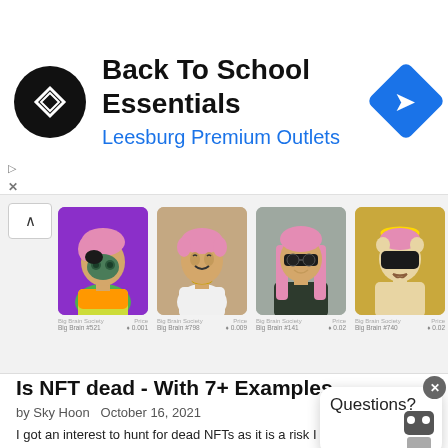[Figure (infographic): Advertisement banner for Back To School Essentials at Leesburg Premium Outlets, with circular black logo with arrow icon and a blue diamond navigation arrow on the right.]
[Figure (infographic): NFT carousel showing four Big Brain Society NFT cards: Big Brain #521 (price 0.001), Big Brain #798 (0.009), Big Brain #141 (0.02), Big Brain #740 (0.02). Each shows a cartoon character with pink hair on colored backgrounds.]
Is NFT dead - With 7+ Examples
by Sky Hoon   October 16, 2021
I got an interest to hunt for dead NFTs as it is a risk I need to know. Is NFT dead? Small unsupported projects will die eventually. Big Brain Soci...
[Figure (infographic): Questions? chat widget with close button (x) and robot avatar at bottom right.]